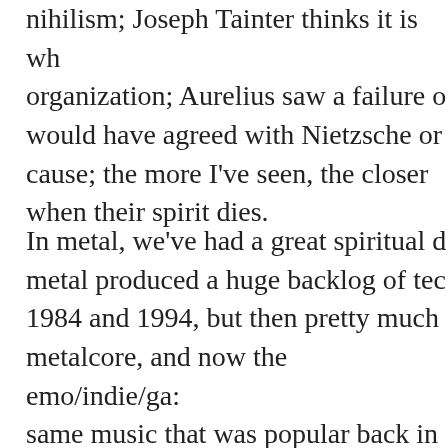nihilism; Joseph Tainter thinks it is wh organization; Aurelius saw a failure o would have agreed with Nietzsche or cause; the more I've seen, the closer when their spirit dies.
In metal, we've had a great spiritual c metal produced a huge backlog of tec 1984 and 1994, but then pretty much metalcore, and now the emo/indie/ga same music that was popular back in always does when collapse comes to